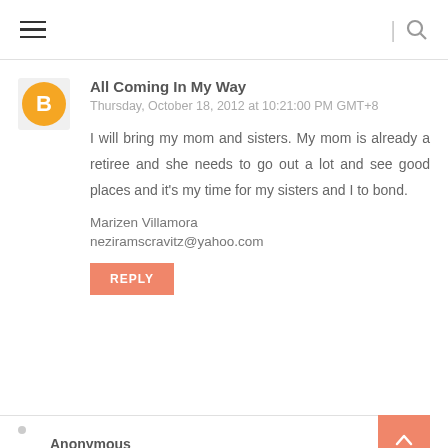hamburger menu | search
All Coming In My Way
Thursday, October 18, 2012 at 10:21:00 PM GMT+8
I will bring my mom and sisters. My mom is already a retiree and she needs to go out a lot and see good places and it's my time for my sisters and I to bond.
Marizen Villamora
neziramscravitz@yahoo.com
REPLY
Anonymous
Thursday, October 18, 2012 at 11:22:00 PM GMT+8